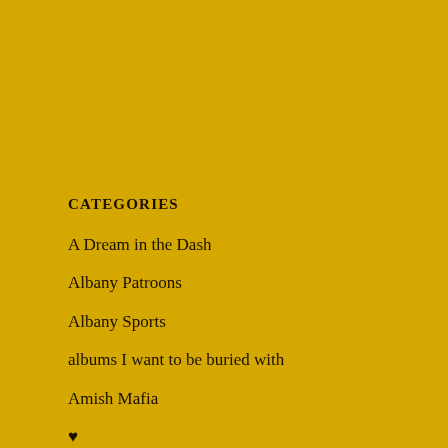CATEGORIES
A Dream in the Dash
Albany Patroons
Albany Sports
albums I want to be buried with
Amish Mafia
♥
Bachelor Cooking
Baseball